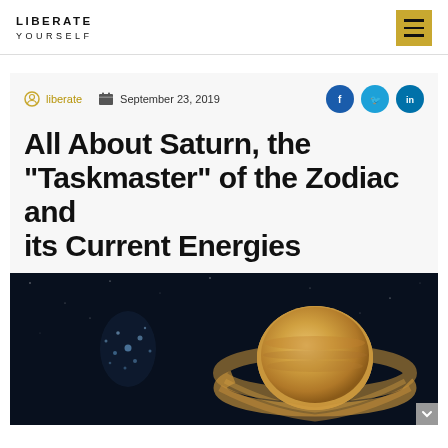LIBERATE YOURSELF
liberate   September 23, 2019
All About Saturn, the “Taskmaster” of the Zodiac and its Current Energies
[Figure (photo): Illustration of Saturn with its rings against a dark space background, with a star cluster visible to the left]